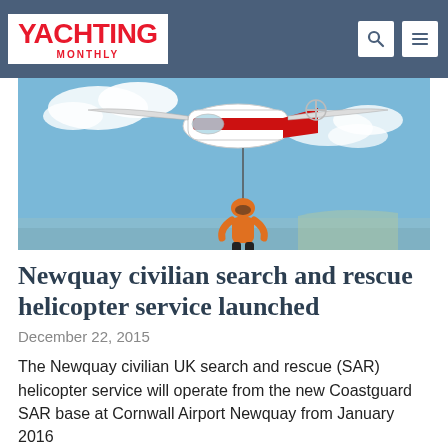YACHTING MONTHLY
[Figure (photo): A red and white coastguard search and rescue helicopter photographed from below, with a rescue swimmer/winchman in orange gear being lowered on a cable, against a blue sky with clouds and sea in the background.]
Newquay civilian search and rescue helicopter service launched
December 22, 2015
The Newquay civilian UK search and rescue (SAR) helicopter service will operate from the new Coastguard SAR base at Cornwall Airport Newquay from January 2016